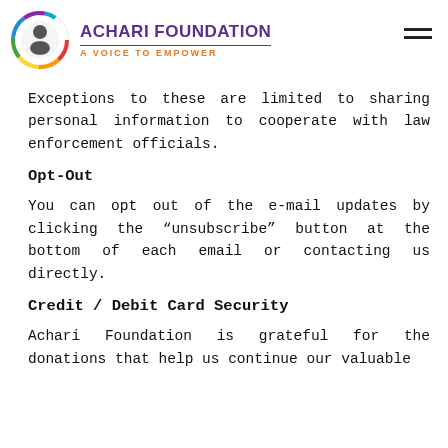ACHARI FOUNDATION — A VOICE TO EMPOWER
Exceptions to these are limited to sharing personal information to cooperate with law enforcement officials.
Opt-Out
You can opt out of the e-mail updates by clicking the "unsubscribe" button at the bottom of each email or contacting us directly.
Credit / Debit Card Security
Achari Foundation is grateful for the donations that help us continue our valuable